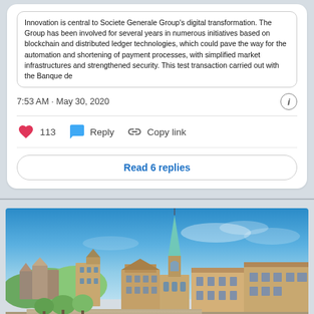Innovation is central to Societe Generale Group's digital transformation. The Group has been involved for several years in numerous initiatives based on blockchain and distributed ledger technologies, which could pave the way for the automation and shortening of payment processes, with simplified market infrastructures and strengthened security. This test transaction carried out with the Banque de
7:53 AM · May 30, 2020
113  Reply  Copy link
Read 6 replies
[Figure (photo): Photograph of Zurich cityscape showing the Fraumünster church with its distinctive green spire, historic buildings along the Limmat river, and a stone bridge in the foreground under a clear blue sky.]